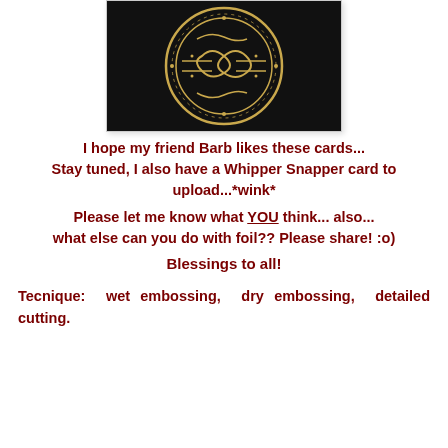[Figure (photo): Close-up photo of a dark/black embossed card with gold foil design showing circular ornate pattern with decorative swirls and a tied knot motif in the center]
I hope my friend Barb likes these cards... Stay tuned, I also have a Whipper Snapper card to upload...*wink*
Please let me know what YOU think... also... what else can you do with foil?? Please share! :o)
Blessings to all!
Tecnique: wet embossing, dry embossing, detailed cutting.